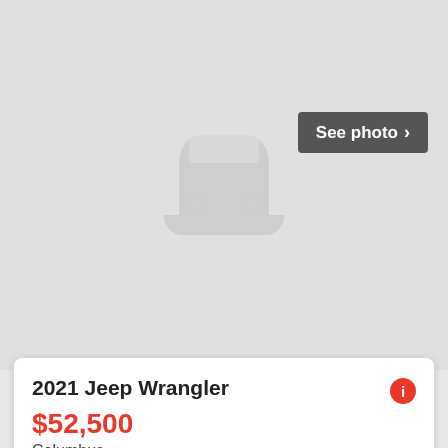[Figure (illustration): Gray placeholder car icon (rear view silhouette) on a light gray background with a dark gray 'See photo >' button in the upper right]
2021 Jeep Wrangler
$52,500
Columbus
Trim: Unlimited Rubicon Transmission: 8-Speed A/T Engine:...
3 days ago